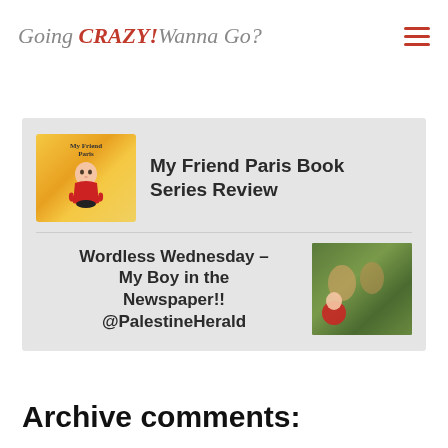Going CRAZY! Wanna Go?
My Friend Paris Book Series Review
Wordless Wednesday – My Boy in the Newspaper!! @PalestineHerald
Archive comments: